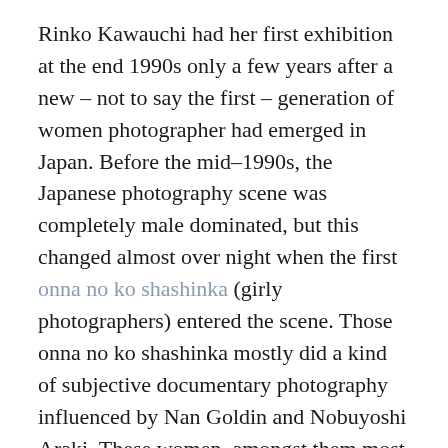Rinko Kawauchi had her first exhibition at the end 1990s only a few years after a new – not to say the first – generation of women photographer had emerged in Japan. Before the mid–1990s, the Japanese photography scene was completely male dominated, but this changed almost over night when the first onna no ko shashinka (girly photographers) entered the scene. Those onna no ko shashinka mostly did a kind of subjective documentary photography influenced by Nan Goldin and Nobuyoshi Araki. These women, amongst them most famous Hiromix and Yurie Nagashima, talked mainly about their own lives. With their spontaneous and direct and dairy like style the young photographers opened a new narrative in the Japanese photography, but soon they reached their own limitations, because of their